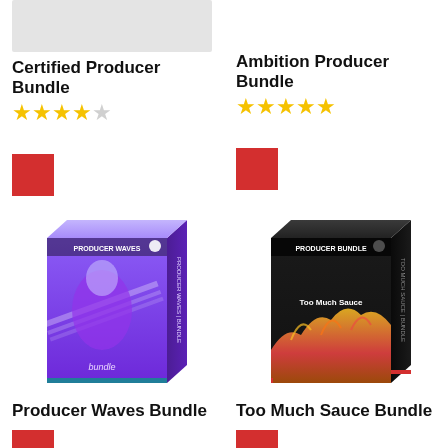[Figure (photo): Certified Producer Bundle product box - top partially visible, gray placeholder]
Certified Producer Bundle
4 out of 5 stars rating
[Figure (other): Red square button/icon]
Ambition Producer Bundle
5 out of 5 stars rating
[Figure (other): Red square button/icon]
[Figure (photo): Producer Waves Bundle product box - purple artistic design with figure bust]
Producer Waves Bundle
[Figure (other): Red square button/icon]
[Figure (photo): Too Much Sauce Bundle product box - dark fire design]
Too Much Sauce Bundle
[Figure (other): Red square button/icon]